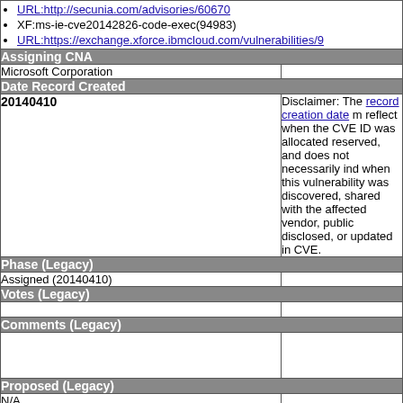URL:http://secunia.com/advisories/60670
XF:ms-ie-cve20142826-code-exec(94983)
URL:https://exchange.xforce.ibmcloud.com/vulnerabilities/9
Assigning CNA
Microsoft Corporation
Date Record Created
| 20140410 | Disclaimer: The record creation date m reflect when the CVE ID was allocated reserved, and does not necessarily ind when this vulnerability was discovered, shared with the affected vendor, public disclosed, or updated in CVE. |
Phase (Legacy)
Assigned (20140410)
Votes (Legacy)
Comments (Legacy)
Proposed (Legacy)
N/A